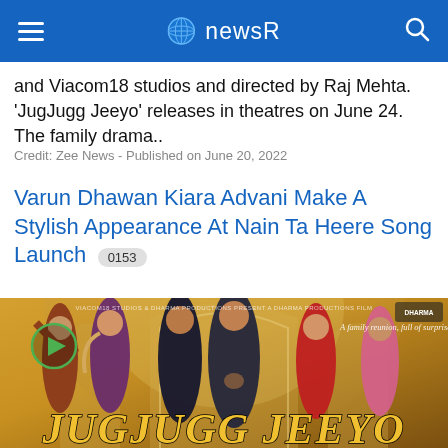newsR
and Viacom18 studios and directed by Raj Mehta. 'JugJugg Jeeyo' releases in theatres on June 24. The family drama..
Credit: Zee News - Published on June 20, 2022
Varun Dhawan Kiara Advani Make A Stylish Appearance At Nain Ta Heere Song Launch 0153
[Figure (photo): Movie poster for JugJugg Jeeyo showing cast members Varun Dhawan, Kiara Advani, Anil Kapoor and others dressed in festive attire, with the film title at the bottom in gold letters]